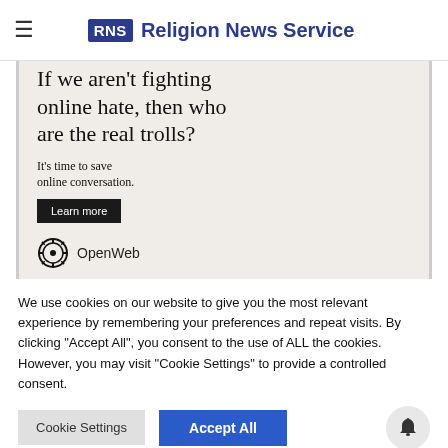Religion News Service
[Figure (illustration): Advertisement banner with text: 'If we aren't fighting online hate, then who are the real trolls? It's time to save online conversation. Learn more. OpenWeb logo.']
We use cookies on our website to give you the most relevant experience by remembering your preferences and repeat visits. By clicking "Accept All", you consent to the use of ALL the cookies. However, you may visit "Cookie Settings" to provide a controlled consent.
Cookie Settings | Accept All